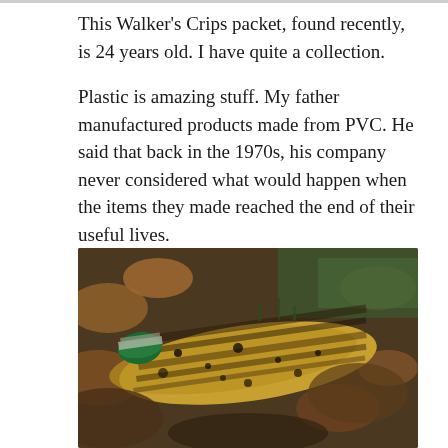This Walker's Crips packet, found recently, is 24 years old. I have quite a collection.
Plastic is amazing stuff. My father manufactured products made from PVC. He said that back in the 1970s, his company never considered what would happen when the items they made reached the end of their useful lives.
[Figure (photo): A dirty, yellowed plastic bottle with a green cap lying among fallen leaves and muddy ground, heavily soiled with black dirt and grime, showing signs of long-term environmental exposure.]